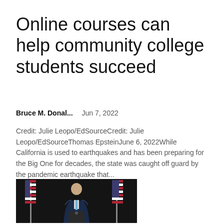Online courses can help community college students succeed
Bruce M. Donal...    Jun 7, 2022
Credit: Julie Leopo/EdSourceCredit: Julie Leopo/EdSourceThomas EpsteinJune 6, 2022While California is used to earthquakes and has been preparing for the Big One for decades, the state was caught off guard by the pandemic earthquake that...
[Figure (photo): A person in a dark suit speaking at a podium with American flags in the background]